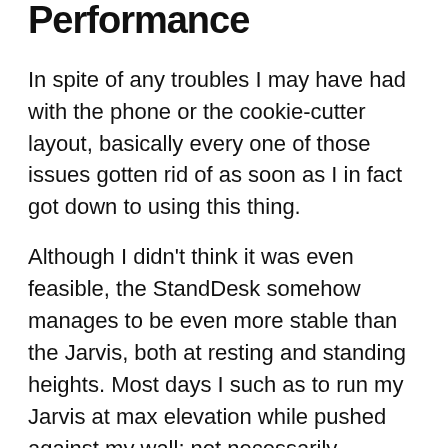Performance
In spite of any troubles I may have had with the phone or the cookie-cutter layout, basically every one of those issues gotten rid of as soon as I in fact got down to using this thing.
Although I didn't think it was even feasible, the StandDesk somehow manages to be even more stable than the Jarvis, both at resting and standing heights. Most days I such as to run my Jarvis at max elevation while pushed against my wall; not necessarily because it's that unsteady, but just because I desire as much stability as I can get.
The StandDesk c...